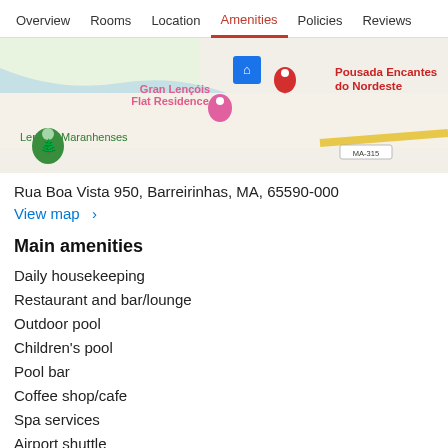Overview  Rooms  Location  Amenities  Policies  Reviews
[Figure (map): Google Maps screenshot showing location of Pousada Encantes do Nordeste in Barreirinhas, with Gran Lençóis Flat Residence nearby and Lençóis Maranhenses label, road MA-315 visible]
Rua Boa Vista 950, Barreirinhas, MA, 65590-000
View map ›
Main amenities
Daily housekeeping
Restaurant and bar/lounge
Outdoor pool
Children's pool
Pool bar
Coffee shop/cafe
Spa services
Airport shuttle